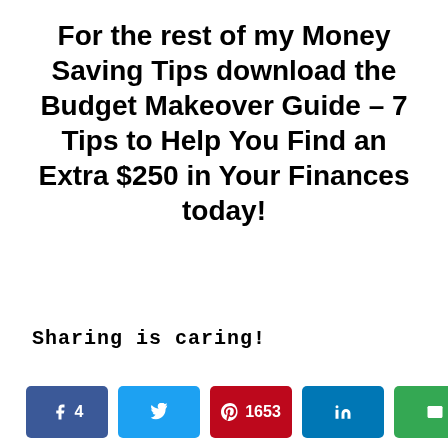For the rest of my Money Saving Tips download the Budget Makeover Guide – 7 Tips to Help You Find an Extra $250 in Your Finances today!
Sharing is caring!
[Figure (infographic): Social sharing buttons row: Facebook (count 4), Twitter, Pinterest (count 1653), LinkedIn, Email]